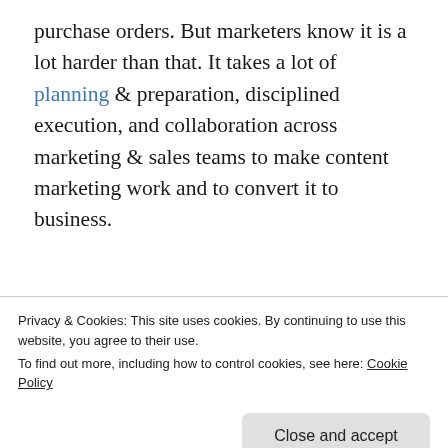purchase orders. But marketers know it is a lot harder than that. It takes a lot of planning & preparation, disciplined execution, and collaboration across marketing & sales teams to make content marketing work and to convert it to business.
[Figure (screenshot): WordPress app advertisement banner showing partial text '— Build a writing habit. Post on the go.' with 'GET THE APP' link and WordPress logo]
Privacy & Cookies: This site uses cookies. By continuing to use this website, you agree to their use.
To find out more, including how to control cookies, see here: Cookie Policy
Close and accept